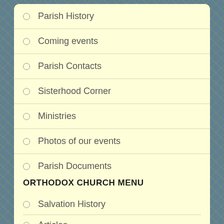Parish History
Coming events
Parish Contacts
Sisterhood Corner
Ministries
Photos of our events
Parish Documents
Search our site
ORTHODOX CHURCH MENU
Salvation History
Articles